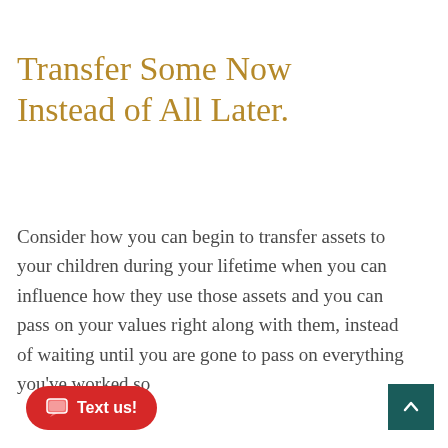Transfer Some Now Instead of All Later.
Consider how you can begin to transfer assets to your children during your lifetime when you can influence how they use those assets and you can pass on your values right along with them, instead of waiting until you are gone to pass on everything you’ve worked so